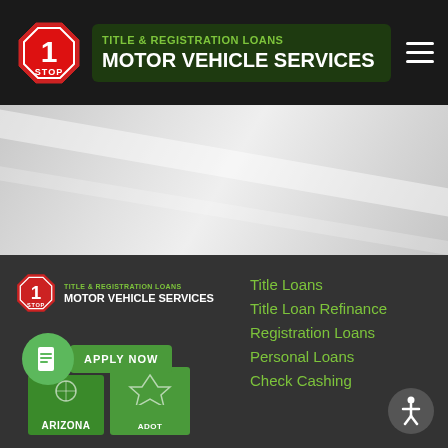1 Stop Title & Registration Loans – Motor Vehicle Services
[Figure (screenshot): Hero banner with light gray gradient background and diagonal white light streaks]
[Figure (logo): 1 Stop Title & Registration Loans Motor Vehicle Services footer logo with Apply Now button, Arizona vehicle registration card image, and document icon]
Title Loans
Title Loan Refinance
Registration Loans
Personal Loans
Check Cashing